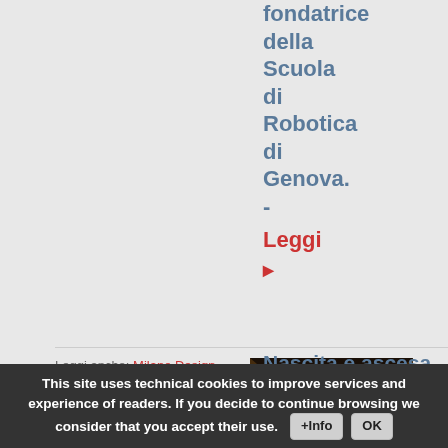fondatrice della Scuola di Robotica di Genova. - Leggi ▶
Leggi anche: Milano Design, Realizzare l'improbabile
Categorie Design, .
[Figure (photo): Aerial view of a theater stage with bright lighting, a person standing on stage, and architectural elements on the sides.]
Nascita e ascesa del design a Milano, senza fine
Lo spettacolo di Laura Curino sulla ascesa...
This site uses technical cookies to improve services and experience of readers. If you decide to continue browsing we consider that you accept their use.